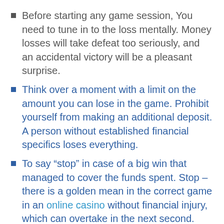Before starting any game session, You need to tune in to the loss mentally. Money losses will take defeat too seriously, and an accidental victory will be a pleasant surprise.
Think over a moment with a limit on the amount you can lose in the game. Prohibit yourself from making an additional deposit. A person without established financial specifics loses everything.
To say “stop” in case of a big win that managed to cover the funds spent. Stop – there is a golden mean in the correct game in an online casino without financial injury, which can overtake in the next second.
(partial, cut off at bottom)